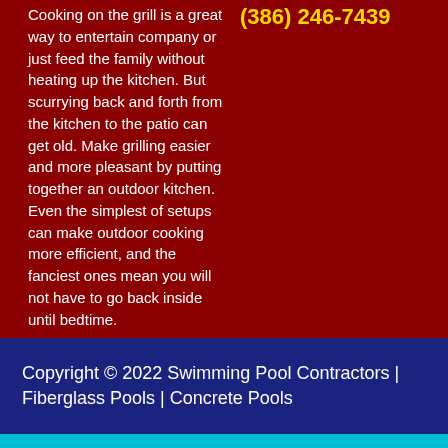Cooking on the grill is a great way to entertain company or just feed the family without heating up the kitchen. But scurrying back and forth from the kitchen to the patio can get old. Make grilling easier and more pleasant by putting together an outdoor kitchen. Even the simplest of setups can make outdoor cooking more efficient, and the fanciest ones mean you will not have to go back inside until bedtime.
(386) 246-7439
Copyright © 2022 Swimming Pool Contractors | Fiberglass Pools | Concrete Pools